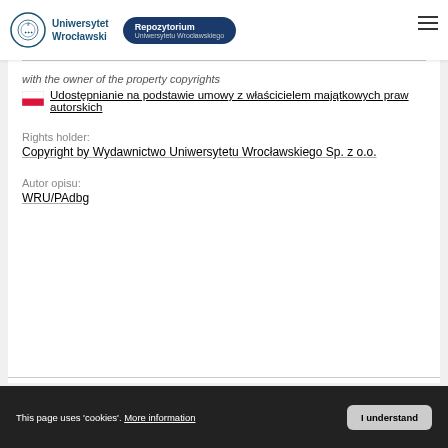[Figure (logo): Uniwersytet Wrocławski logo with crest and blue text, alongside a dark blue rounded badge labeled Repozytorium Uniwersytetu Wrocławskiego]
with the owner of the property copyrights
Udostępnianie na podstawie umowy z właścicielem majątkowych praw autorskich
Rights holder:
Copyright by Wydawnictwo Uniwersytetu Wrocławskiego Sp. z o.o.
Autor opisu:
WRU/PAdbg
This page uses 'cookies'. More information
I understand